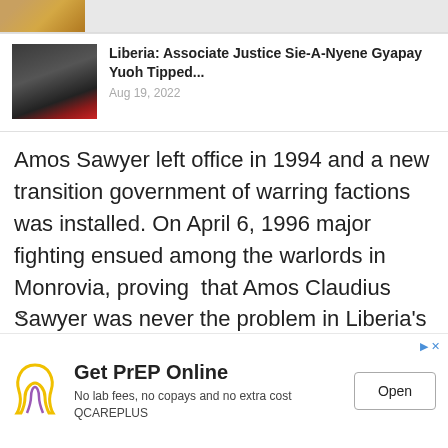[Figure (photo): Partial top image strip showing a scene with golden/yellow tones]
[Figure (photo): Thumbnail photo of a woman in red clothing, likely Associate Justice Sie-A-Nyene Gyapay Yuoh]
Liberia: Associate Justice Sie-A-Nyene Gyapay Yuoh Tipped...
Aug 19, 2022
Amos Sawyer left office in 1994 and a new transition government of warring factions was installed. On April 6, 1996 major fighting ensued among the warlords in Monrovia, proving  that Amos Claudius Sawyer was never the problem in Liberia’s peace process. Elections were held in 97 after which many a  skirmishes and battles
Get PrEP Online
No lab fees, no copays and no extra cost QCAREPLUS